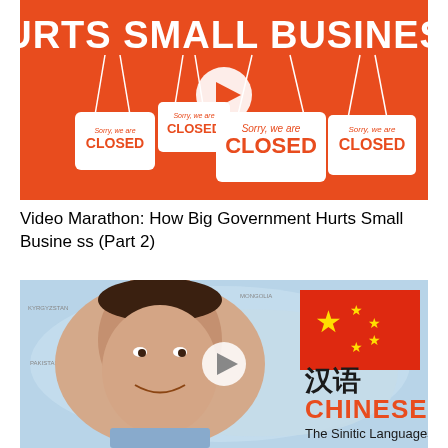[Figure (illustration): Orange background image with white bold text 'HURTS SMALL BUSINESS' and four 'Sorry, we are CLOSED' signs hanging, with a play button icon in the center.]
Video Marathon: How Big Government Hurts Small Business (Part 2)
[Figure (illustration): Image of a man smiling in front of a map of China with Chinese flag, Chinese characters 汉语, and text 'CHINESE The Sinitic Languages' with a play button icon.]